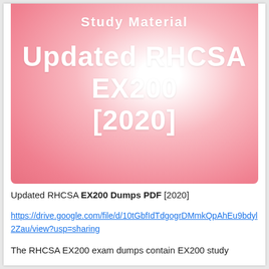[Figure (illustration): Pink radial gradient banner with white bold text reading 'Study Material' and 'Updated RHCSA EX200 [2020]']
Updated RHCSA EX200 Dumps PDF [2020]
https://drive.google.com/file/d/10tGbfIdTdgogrDMmkQpAhEu9bdyl2Zau/view?usp=sharing
The RHCSA EX200 exam dumps contain EX200 study